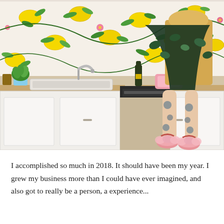[Figure (photo): A woman with heavily tattooed legs sits on a kitchen counter wearing a floral kimono robe over a gold sequin dress and pink fluffy heeled sandals. The kitchen background features colorful lemon-print wallpaper with pink flowers, white cabinetry, a farmhouse sink, and a champagne bottle on the counter.]
I accomplished so much in 2018. It should have been my year. I grew my business more than I could have ever imagined, and also got to really be a person, a experience...